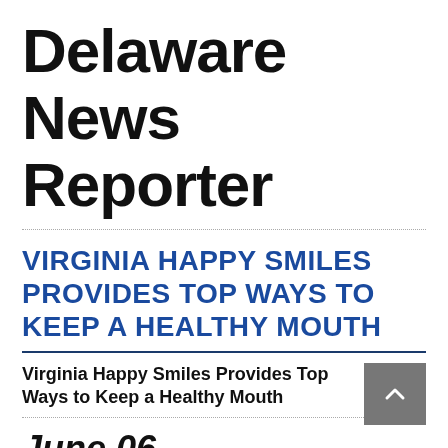Delaware News Reporter
VIRGINIA HAPPY SMILES PROVIDES TOP WAYS TO KEEP A HEALTHY MOUTH
Virginia Happy Smiles Provides Top Ways to Keep a Healthy Mouth
June 06  16:08